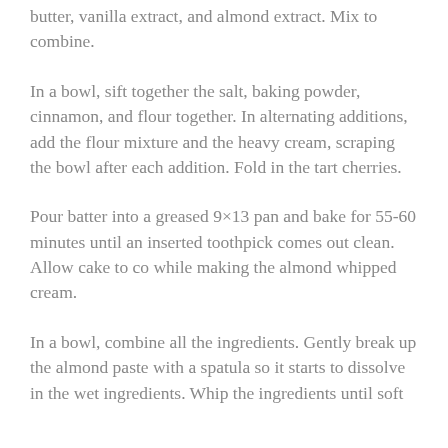butter, vanilla extract, and almond extract. Mix to combine.
In a bowl, sift together the salt, baking powder, cinnamon, and flour together. In alternating additions, add the flour mixture and the heavy cream, scraping the bowl after each addition. Fold in the tart cherries.
Pour batter into a greased 9×13 pan and bake for 55-60 minutes until an inserted toothpick comes out clean. Allow cake to co while making the almond whipped cream.
In a bowl, combine all the ingredients. Gently break up the almond paste with a spatula so it starts to dissolve in the wet ingredients. Whip the ingredients until soft